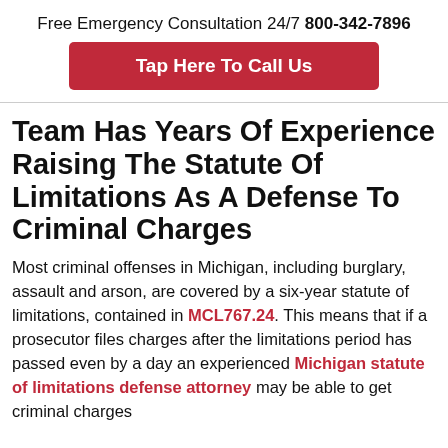Free Emergency Consultation 24/7 800-342-7896
[Figure (other): Red button: Tap Here To Call Us]
Team Has Years Of Experience Raising The Statute Of Limitations As A Defense To Criminal Charges
Most criminal offenses in Michigan, including burglary, assault and arson, are covered by a six-year statute of limitations, contained in MCL767.24. This means that if a prosecutor files charges after the limitations period has passed even by a day an experienced Michigan statute of limitations defense attorney may be able to get criminal charges